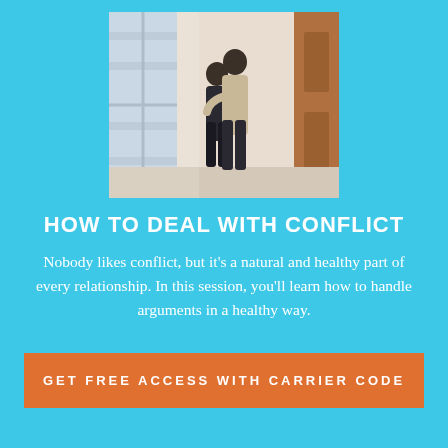[Figure (photo): A couple embracing near a window with natural light, standing in a room with a wooden door.]
HOW TO DEAL WITH CONFLICT
Nobody likes conflict, but it's a natural and healthy part of every relationship. In this session, you'll learn how to handle arguments in a healthy way.
GET FREE ACCESS WITH CARRIER CODE